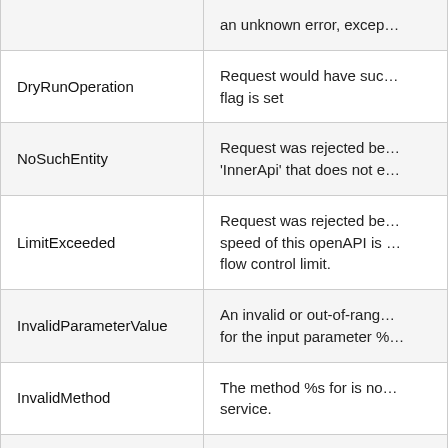| Error Code | Description |
| --- | --- |
|  | an unknown error, excep… |
| DryRunOperation | Request would have suc… flag is set |
| NoSuchEntity | Request was rejected be… 'InnerApi' that does not e… |
| LimitExceeded | Request was rejected be… speed of this openAPI is … flow control limit. |
| InvalidParameterValue | An invalid or out-of-range… for the input parameter %… |
| InvalidMethod | The method %s for is no… service. |
| MissingParameter | An value must be supplie… parameter %s. |
| InvalidQueryParameter | The query parameter %s… not adhere to KSC standa… |